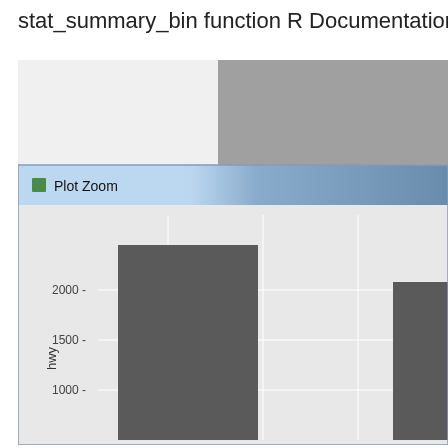stat_summary_bin function R Documentation
[Figure (screenshot): A Plot Zoom window showing a bar chart with y-axis labeled 'hwy'. Two visible bars in dark gray color, one tall bar approximately at value 2300 and another partial bar at the right edge approximately at 1750. Y-axis shows values 1000, 1500, 2000. Background is light gray with white grid lines. The window has a blue title bar reading 'Plot Zoom'.]